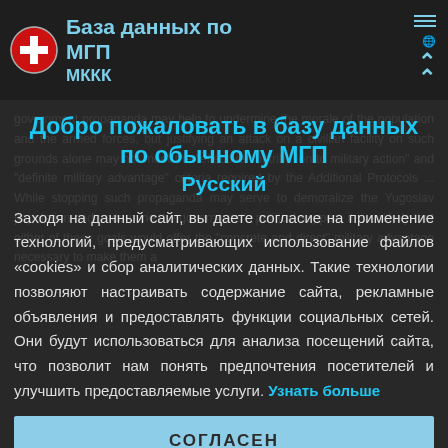База данных по МГП МККК
government propaganda may help to undermine the morale of the population and the armed forces, but justifying an attack on a civilian facility on such grounds alone may not meet the "effective contribution to military action" and "definite military advantage" criteria required by the Additional Protocols ... While stopping such propaganda may serve to demoralize the Yugoslav population and undermine the government's political support, it is unlikely that either of these goals would offer the "concrete and direct" military advantage necessary to make them a
Добро пожаловать в базу данных по обычному МГП
Русский
Заходя на данный сайт, вы даете согласие на применение технологий, предусматривающих использование файлов «cookies» и сбор аналитических данных. Такие технологии позволяют настраивать содержание сайта, рекламные объявления и предоставлять функции социальных сетей. Они будут использоваться для анализа посещений сайта, что позволит нам понять предпочтения посетителей и улучшить предоставляемые услуги. Узнать больше
СОГЛАСЕН